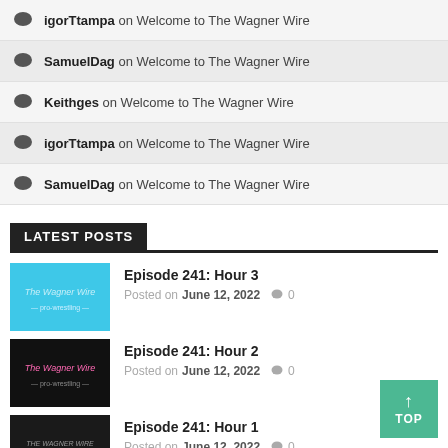igorTtampa on Welcome to The Wagner Wire
SamuelDag on Welcome to The Wagner Wire
Keithges on Welcome to The Wagner Wire
igorTtampa on Welcome to The Wagner Wire
SamuelDag on Welcome to The Wagner Wire
LATEST POSTS
[Figure (photo): The Wagner Wire podcast logo on cyan/teal background]
Episode 241: Hour 3
Posted on June 12, 2022   0
[Figure (photo): The Wagner Wire logo on black background with pink heartbeat line]
Episode 241: Hour 2
Posted on June 12, 2022   0
[Figure (photo): The Wagner Wire logo with microphone on dark background]
Episode 241: Hour 1
Posted on June 12, 2022   0